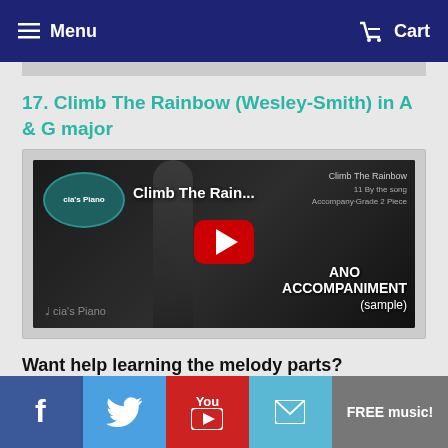Menu  Cart
17. Climb The Rainbow (Wesley-Smith) in A & G major
[Figure (screenshot): YouTube video thumbnail for 'Climb The Rain...' piano accompaniment sample with red play button]
Want help learning the melody parts?
[Figure (other): Social sharing bar with Facebook, Twitter, YouTube, email icons and FREE music! button]